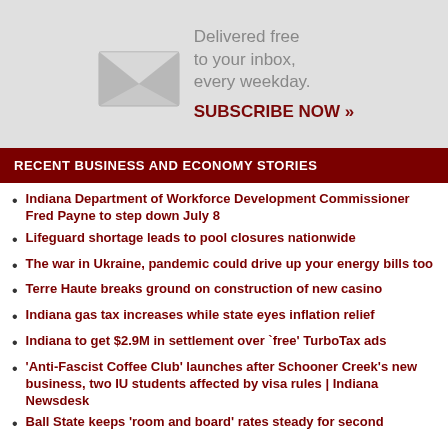[Figure (infographic): Email newsletter subscription banner with envelope icon, text 'Delivered free to your inbox, every weekday.' and 'SUBSCRIBE NOW »' in dark red.]
RECENT BUSINESS AND ECONOMY STORIES
Indiana Department of Workforce Development Commissioner Fred Payne to step down July 8
Lifeguard shortage leads to pool closures nationwide
The war in Ukraine, pandemic could drive up your energy bills too
Terre Haute breaks ground on construction of new casino
Indiana gas tax increases while state eyes inflation relief
Indiana to get $2.9M in settlement over `free' TurboTax ads
'Anti-Fascist Coffee Club' launches after Schooner Creek's new business, two IU students affected by visa rules | Indiana Newsdesk
Ball State keeps 'room and board' rates steady for second